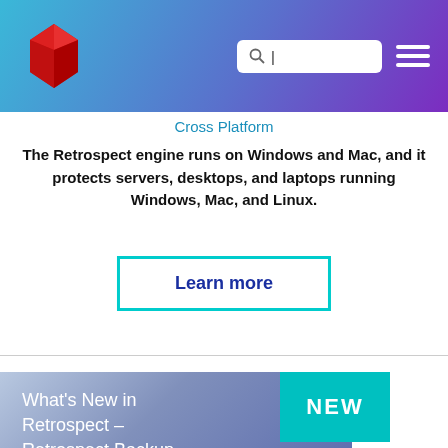[Figure (logo): Red geometric gem/crystal logo in top left of header navigation bar with blue-to-purple gradient background]
Cross Platform
The Retrospect engine runs on Windows and Mac, and it protects servers, desktops, and laptops running Windows, Mac, and Linux.
Learn more
What's New in Retrospect – Retrospect Backup 18 + Retrospect Virtual 3.0 for U...
NEW